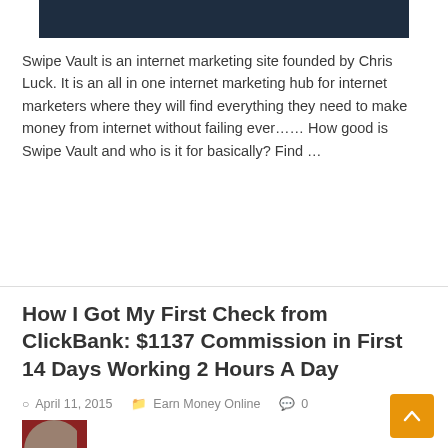[Figure (other): Dark navy blue banner image at top]
Swipe Vault is an internet marketing site founded by Chris Luck. It is an all in one internet marketing hub for internet marketers where they will find everything they need to make money from internet without failing ever…… How good is Swipe Vault and who is it for basically? Find …
Read More »
How I Got My First Check from ClickBank: $1137 Commission in First 14 Days Working 2 Hours A Day
April 11, 2015  Earn Money Online  0
[Figure (logo): ClickBank logo - partial view with dark red and tan/brown curved shapes]